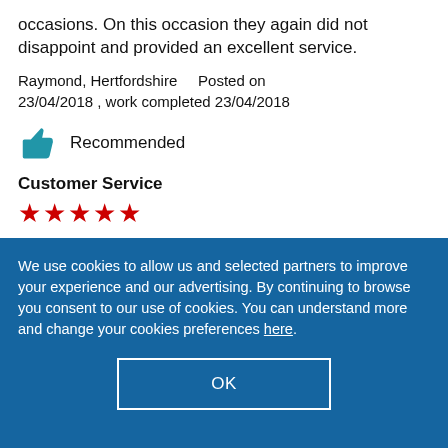occasions. On this occasion they again did not disappoint and provided an excellent service.
Raymond, Hertfordshire    Posted on 23/04/2018 , work completed 23/04/2018
Recommended
Customer Service
★★★★★
We use cookies to allow us and selected partners to improve your experience and our advertising. By continuing to browse you consent to our use of cookies. You can understand more and change your cookies preferences here.
OK